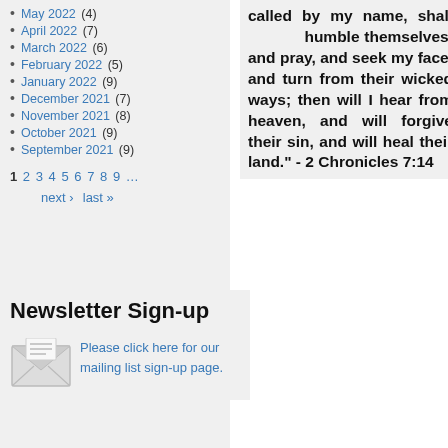May 2022 (4)
April 2022 (7)
March 2022 (6)
February 2022 (5)
January 2022 (9)
December 2021 (7)
November 2021 (8)
October 2021 (9)
September 2021 (9)
1 2 3 4 5 6 7 8 9 ... next › last »
Newsletter Sign-up
Please click here for our mailing list sign-up page.
called by my name, shall humble themselves, and pray, and seek my face, and turn from their wicked ways; then will I hear from heaven, and will forgive their sin, and will heal their land." - 2 Chronicles 7:14